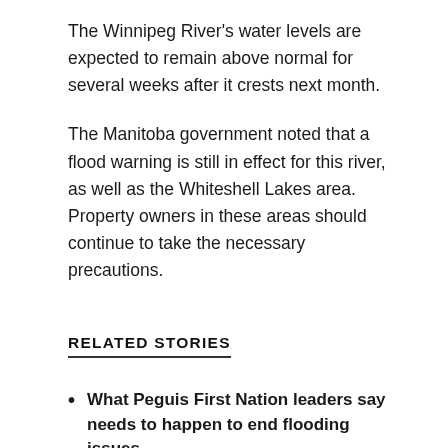The Winnipeg River's water levels are expected to remain above normal for several weeks after it crests next month.
The Manitoba government noted that a flood warning is still in effect for this river, as well as the Whiteshell Lakes area. Property owners in these areas should continue to take the necessary precautions.
RELATED STORIES
What Peguis First Nation leaders say needs to happen to end flooding issues
Winnipeg man fined for driving past flood barricade, getting stranded in water
Flooding caused more than $1 million in